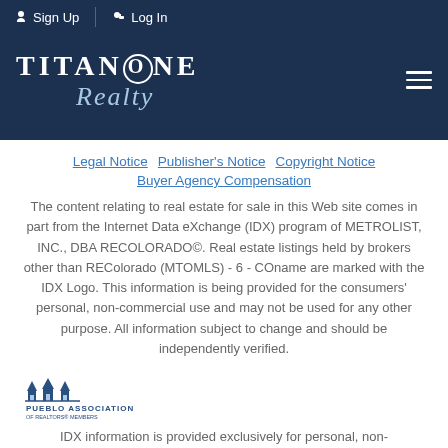Sign Up   Log In
[Figure (logo): TitanOne Realty logo in white text on dark navy background with script Realty text]
Legal Notice   Publisher's Notice   Copyright Notice   Buyer Agency Compensation
The content relating to real estate for sale in this Web site comes in part from the Internet Data eXchange (IDX) program of METROLIST, INC., DBA RECOLORADO©. Real estate listings held by brokers other than REColorado (MTOMLS) - 6 - COname are marked with the IDX Logo. This information is being provided for the consumers' personal, non-commercial use and may not be used for any other purpose. All information subject to change and should be independently verified.
[Figure (logo): Pueblo Association of Realtors logo]
IDX information is provided exclusively for personal, non-